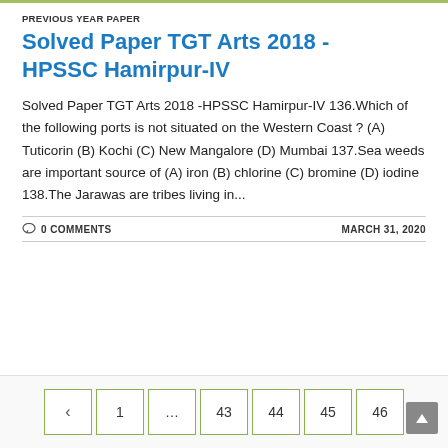PREVIOUS YEAR PAPER
Solved Paper TGT Arts 2018 - HPSSC Hamirpur-IV
Solved Paper TGT Arts 2018 -HPSSC Hamirpur-IV 136.Which of the following ports is not situated on the Western Coast ? (A) Tuticorin (B) Kochi (C) New Mangalore (D) Mumbai 137.Sea weeds are important source of (A) iron (B) chlorine (C) bromine (D) iodine 138.The Jarawas are tribes living in...
0 COMMENTS   MARCH 31, 2020
< 1 ... 43 44 45 46